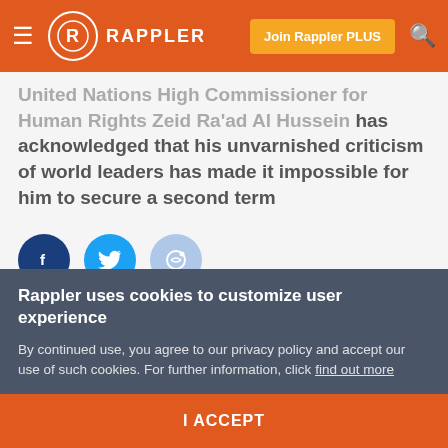Rappler — navigation header with logo, Join Rappler PLUS button, and search icon
United Nations High Commissioner for Human Rights Zeid Ra'ad Al Hussein has acknowledged that his unvarnished criticism of world leaders has made it impossible for him to secure a second term
[Figure (other): Social sharing buttons: Facebook (dark blue circle), Twitter (light blue circle), Reddit (pale blue circle)]
[Figure (photo): Partial photo of a man's head with grey hair, dark background]
Rappler uses cookies to customize user experience
By continued use, you agree to our privacy policy and accept our use of such cookies. For further information, click find out more
I ACCEPT